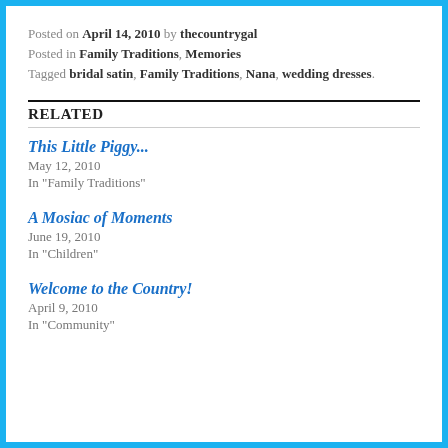Posted on April 14, 2010 by thecountrygal
Posted in Family Traditions, Memories
Tagged bridal satin, Family Traditions, Nana, wedding dresses.
RELATED
This Little Piggy...
May 12, 2010
In "Family Traditions"
A Mosiac of Moments
June 19, 2010
In "Children"
Welcome to the Country!
April 9, 2010
In "Community"